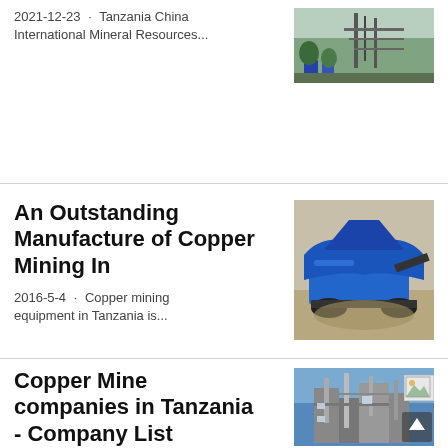2021-12-23 · Tanzania China International Mineral Resources...
[Figure (photo): Mining facility with industrial equipment, scaffolding and structures in Tanzania]
An Outstanding Manufacture of Copper Mining In
2016-5-4 · Copper mining equipment in Tanzania is...
[Figure (photo): Blue mobile copper mining/crushing equipment machine]
Copper Mine companies in Tanzania - Company List
[Figure (photo): Industrial copper mine facility with blue sky background]